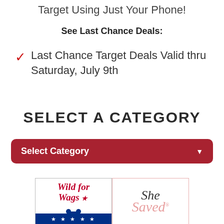Target Using Just Your Phone!
See Last Chance Deals:
Last Chance Target Deals Valid thru Saturday, July 9th
SELECT A CATEGORY
Select Category
[Figure (logo): Wild for Wags logo with red script text, red and blue stars, and blue dog bone graphic on dark blue banner]
[Figure (logo): She Saved logo in script handwriting, black 'She' and pink 'Saved' text with registered trademark, pink border]